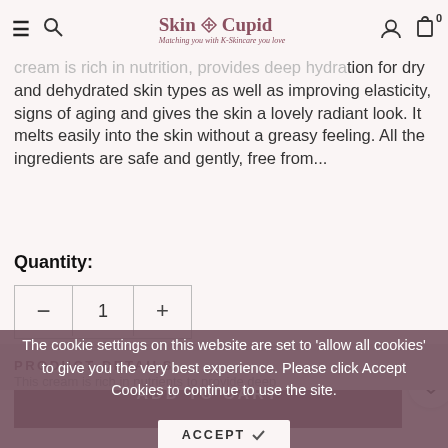Skin Cupid — Matching you with K-Skincare you love
cream is rich in nutrition, provides deep hydration for dry and dehydrated skin types as well as improving elasticity, signs of aging and gives the skin a lovely radiant look. It melts easily into the skin without a greasy feeling. All the ingredients are safe and gently, free from...
Quantity:
ADD TO CART
The cookie settings on this website are set to 'allow all cookies' to give you the very best experience. Please click Accept Cookies to continue to use the site.
ACCEPT
PRODUCT DETAILS
This cream is rich in nutrients to provide deep